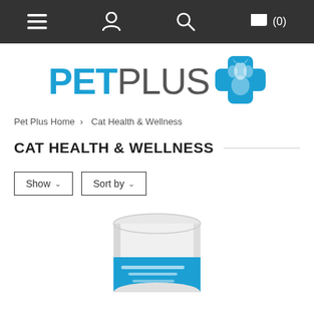Navigation bar with menu, account, search, and cart (0) icons
[Figure (logo): PetPlus logo with blue cross and paw icon]
Pet Plus Home > Cat Health & Wellness
CAT HEALTH & WELLNESS
Show ∨  Sort by ∨
[Figure (photo): White cylindrical pet supplement container with blue label, partially cropped at bottom of page]